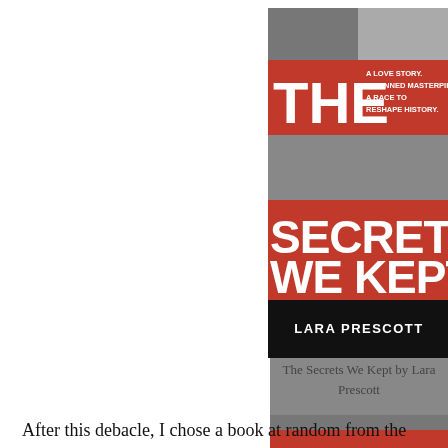[Figure (illustration): Book cover of 'The Secrets We Kept' by Lara Prescott. Cover features black and white photographs of faces (a man and a woman) with bold red horizontal banner strips overlaid. White large text reads 'THE SECRETS WE KEPT' across the red banners. Smaller white text in upper right reads 'A LOVE STORY. A BANNED MASTERPIECE. A RACE TO RESHAPE HISTORY.' Author name 'LARA PRESCOTT' appears at the bottom in white on dark background.]
The Secrets We Kept by Lara Prescott
After this debacle, I chose a book at random from the Library's